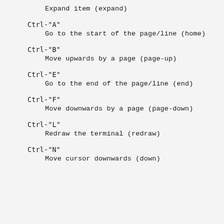Expand item (expand)
Ctrl-"A"
    Go to the start of the page/line (home)
Ctrl-"B"
    Move upwards by a page (page-up)
Ctrl-"E"
    Go to the end of the page/line (end)
Ctrl-"F"
    Move downwards by a page (page-down)
Ctrl-"L"
    Redraw the terminal (redraw)
Ctrl-"N"
    Move cursor downwards (down)